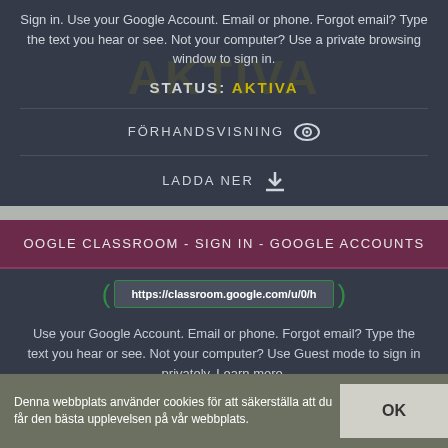Sign in. Use your Google Account. Email or phone. Forgot email? Type the text you hear or see. Not your computer? Use a private browsing window to sign in.
STATUS: AKTIVA
FÖRHANDSVISNING
LADDA NER
OOGLE CLASSROOM - SIGN IN - GOOGLE ACCOUNTS
https://classroom.google.com/u/0/h
Use your Google Account. Email or phone. Forgot email? Type the text you hear or see. Not your computer? Use Guest mode to sign in privately. Learn more.
STATUS: AKTIVA
Denna webbplats använder cookies för att säkerställa att du får den bästa upplevelsen på vår webbplats.